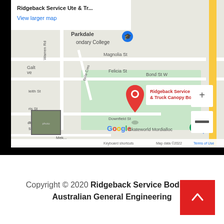[Figure (map): Google Maps screenshot showing location of Ridgeback Service Ute & Truck Canopy Bodies near Parkdale Secondary College, Mordialloc area. Map shows streets including Warren Rd, Magnolia St, Felicia St, Bond St W, and landmarks including Skateworld Mordialloc. A red location pin marks the business. Map includes zoom controls (+/-), Google logo, and footer text 'Keyboard shortcuts  Map data ©2022  Terms of Use'. An info box at top shows 'Ridgeback Service Ute & Tr...' and 'View larger map' in blue.]
Copyright © 2020 Ridgeback Service Bodies & Australian General Engineering